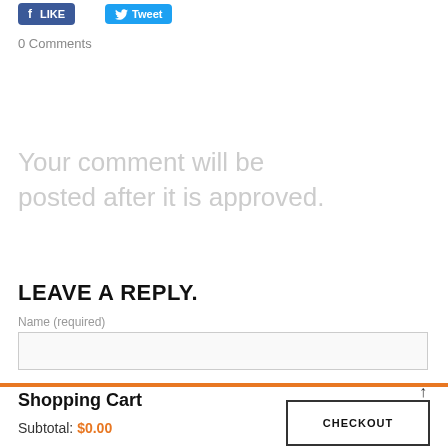[Figure (screenshot): Social media share buttons: blue Like button and blue Tweet button with Twitter bird icon]
0 Comments
Your comment will be posted after it is approved.
LEAVE A REPLY.
Name (required)
Shopping Cart
Subtotal: $0.00
CHECKOUT